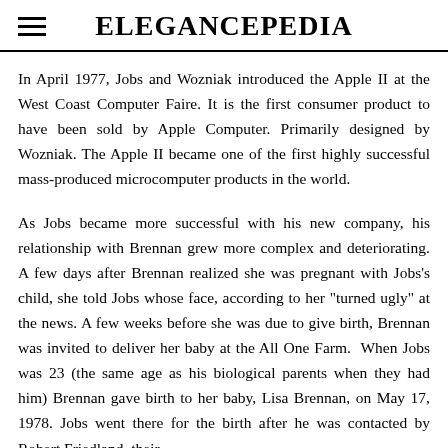ELEGANCEPEDIA
In April 1977, Jobs and Wozniak introduced the Apple II at the West Coast Computer Faire. It is the first consumer product to have been sold by Apple Computer. Primarily designed by Wozniak. The Apple II became one of the first highly successful mass-produced microcomputer products in the world.
As Jobs became more successful with his new company, his relationship with Brennan grew more complex and deteriorating. A few days after Brennan realized she was pregnant with Jobs's child, she told Jobs whose face, according to her "turned ugly" at the news. A few weeks before she was due to give birth, Brennan was invited to deliver her baby at the All One Farm. When Jobs was 23 (the same age as his biological parents when they had him) Brennan gave birth to her baby, Lisa Brennan, on May 17, 1978. Jobs went there for the birth after he was contacted by Robert Friedland, their